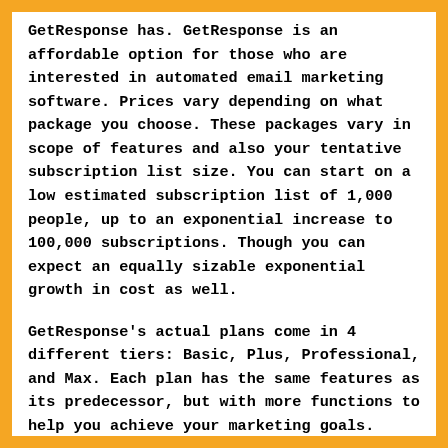GetResponse has. GetResponse is an affordable option for those who are interested in automated email marketing software. Prices vary depending on what package you choose. These packages vary in scope of features and also your tentative subscription list size. You can start on a low estimated subscription list of 1,000 people, up to an exponential increase to 100,000 subscriptions. Though you can expect an equally sizable exponential growth in cost as well.
GetResponse's actual plans come in 4 different tiers: Basic, Plus, Professional, and Max. Each plan has the same features as its predecessor, but with more functions to help you achieve your marketing goals.
The Basic plan covers all the standard email marketing tools a beginner package would need at $15 monthly for a list of about 1,000 people. This allows you to create email